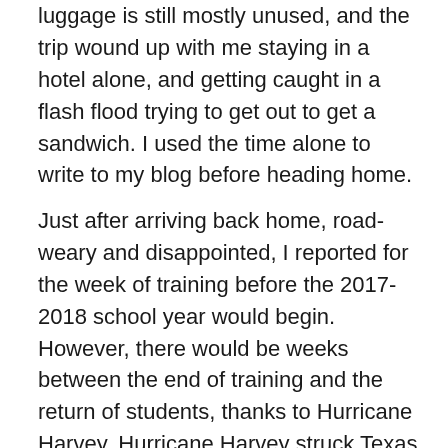luggage is still mostly unused, and the trip wound up with me staying in a hotel alone, and getting caught in a flash flood trying to get out to get a sandwich. I used the time alone to write to my blog before heading home.
Just after arriving back home, road-weary and disappointed, I reported for the week of training before the 2017-2018 school year would begin. However, there would be weeks between the end of training and the return of students, thanks to Hurricane Harvey. Hurricane Harvey struck Texas well to the south of us, but bounced back into the Gulf of Mexico to reload before coming back inland and causing massive flooding in Houston first, and then our entire region. My parents would call my apartment home for about the next two months, while we gutted their home of a lifetime of accumulated belongings to let it dry out before beginning the very long process of rebuilding.